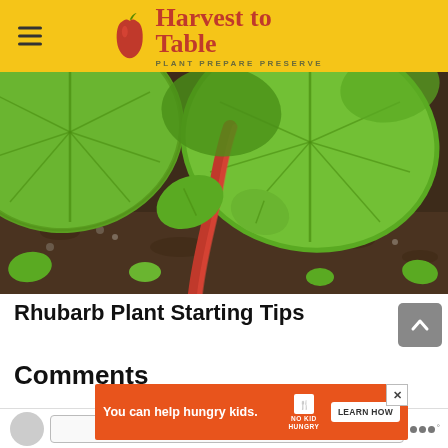Harvest to Table — PLANT PREPARE PRESERVE
[Figure (photo): Close-up photograph of large green rhubarb leaves growing in dark soil, with a red stalk visible in the center]
Rhubarb Plant Starting Tips
Comments
[Figure (infographic): Advertisement overlay: 'You can help hungry kids. NO KID HUNGRY. LEARN HOW' on an orange background with a close button]